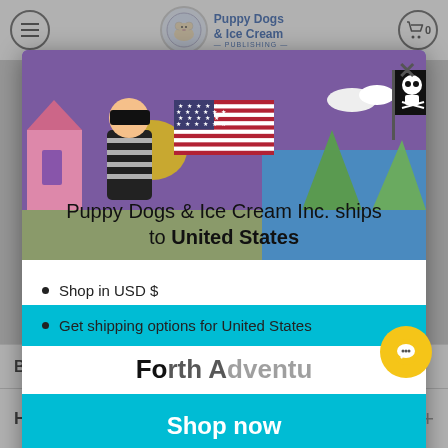Puppy Dogs & Ice Cream — Navigation bar
[Figure (screenshot): Modal popup on e-commerce website showing shipping destination. Contains illustration of cartoon robber with money bag and pirate flag scene. US flag emoji shown. Text: 'Puppy Dogs & Ice Cream Inc. ships to United States']
Shop in USD $
Get shipping options for United States
Shop now
Change shipping country
Book Details
How do I track my order?